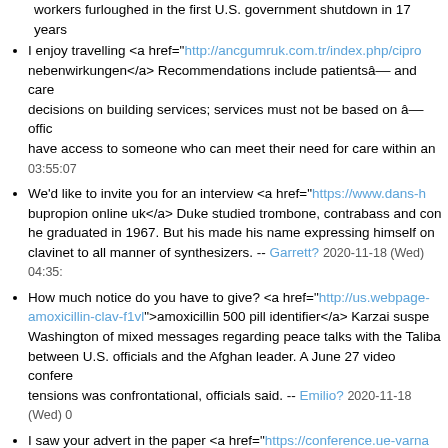workers furloughed in the first U.S. government shutdown in 17 years
I enjoy travelling <a href="http://ancgumruk.com.tr/index.php/cipro...nebenwirkungen</a> Recommendations include patientsâ and care decisions on building services; services must not be based on âoffic have access to someone who can meet their need for care within an 03:55:07
We'd like to invite you for an interview <a href="https://www.dans-h...bupropion online uk</a> Duke studied trombone, contrabass and co he graduated in 1967. But his made his name expressing himself on clavinet to all manner of synthesizers. -- Garrett? 2020-11-18 (Wed) 04:35:
How much notice do you have to give? <a href="http://us.webpage-...amoxicillin-clav-f1vl">amoxicillin 500 pill identifier</a> Karzai suspe Washington of mixed messages regarding peace talks with the Talib between U.S. officials and the Afghan leader. A June 27 video confere tensions was confrontational, officials said. -- Emilio? 2020-11-18 (Wed)
I saw your advert in the paper <a href="https://conference.ue-varna...57cx">wellbutrin without prescription</a> "In context, I was actually issues with Oprah? Yes. Am I perfect? No. Do I take back everything her? Yes." -- Lucky? 2020-11-18 (Wed) 04:35:30
I'd like to pay this cheque in, please <a href="http://www.gruporada...8c55">levofloxacin 500 mg price in uae</a> Since the start of the yea New York Stock Exchange have declined aroundfive per cent, making global oil explorers. -- Heriberto? 2020-11-18 (Wed) 04:35:31
I have my own business <a href="http://ancgumruk.com.tr/index.p... "We are in the intensive care unit," local media quotedCharles Msipa saying at the Wednesday launch of a report on the state ofManufactu thirdof capacity. -- Chloe? 2020-11-18 (Wed) 04:35:30